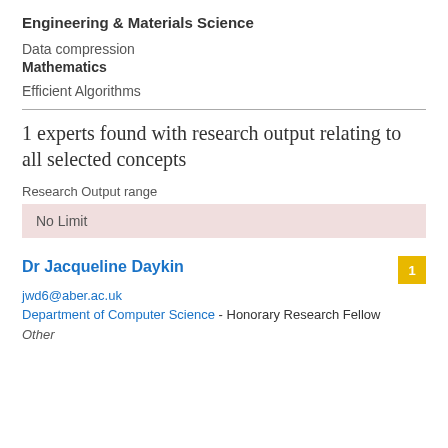Engineering & Materials Science
Data compression
Mathematics
Efficient Algorithms
1 experts found with research output relating to all selected concepts
Research Output range
No Limit
Dr Jacqueline Daykin
jwd6@aber.ac.uk
Department of Computer Science - Honorary Research Fellow
Other